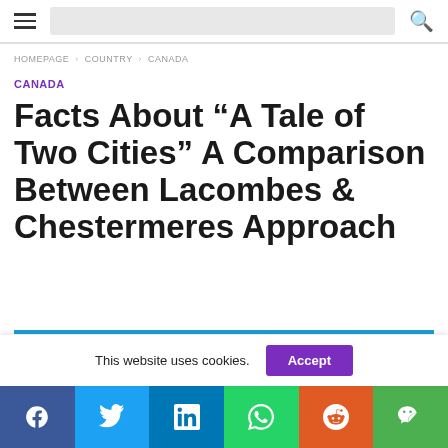Navigation bar with hamburger menu, search box, and search icon
HOMEPAGE › COUNTRY › CANADA
CANADA
Facts About “A Tale of Two Cities” A Comparison Between Lacombes & Chestermeres Approach
This website uses cookies.
Social share bar: Facebook, Twitter, LinkedIn, WhatsApp, Reddit, WeChat